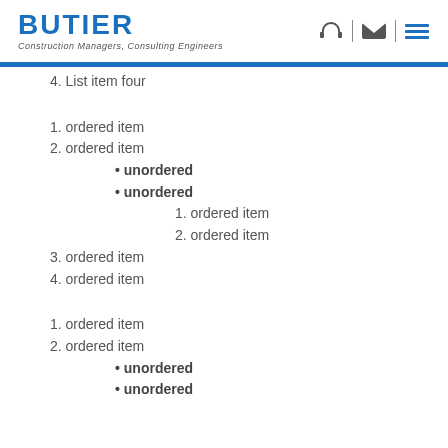BUTIER Construction Managers, Consulting Engineers
4. List item four
1. ordered item
2. ordered item
• unordered
• unordered
1. ordered item
2. ordered item
3. ordered item
4. ordered item
1. ordered item
2. ordered item
• unordered
• unordered